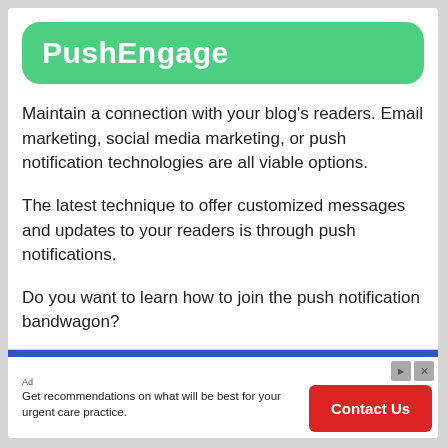PushEngage
Maintain a connection with your blog's readers. Email marketing, social media marketing, or push notification technologies are all viable options.
The latest technique to offer customized messages and updates to your readers is through push notifications.
Do you want to learn how to join the push notification bandwagon?
[Figure (infographic): Advertisement banner: 'Get recommendations on what will be best for your urgent care practice.' with a red 'Contact Us' button.]